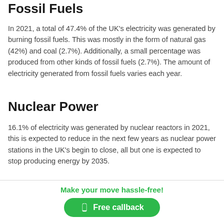Fossil Fuels
In 2021, a total of 47.4% of the UK's electricity was generated by burning fossil fuels. This was mostly in the form of natural gas (42%) and coal (2.7%). Additionally, a small percentage was produced from other kinds of fossil fuels (2.7%). The amount of electricity generated from fossil fuels varies each year.
Nuclear Power
16.1% of electricity was generated by nuclear reactors in 2021, this is expected to reduce in the next few years as nuclear power stations in the UK's begin to close, all but one is expected to stop producing energy by 2035.
Make your move hassle-free! Free callback